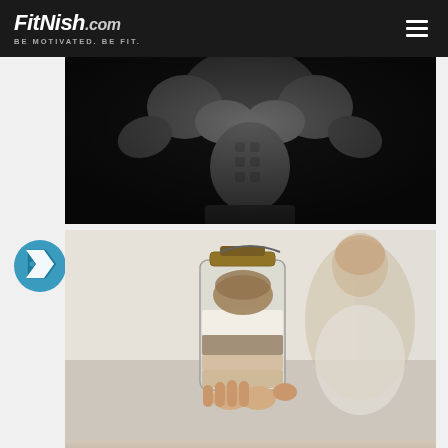FitNish.com — Be Motivated. Be Fit.
[Figure (photo): Black and white photo of a muscular male bodybuilder posing, showing defined abs and chest muscles against a dark background]
[Figure (photo): Photo of a woman holding up a glass jar filled with layered ingredients (oats/cookies) toward the camera, woman is blurred in background, smiling]
[Figure (photo): Partial view of another photo at the bottom of the page, appears to show a person, cropped off]
[Figure (logo): Circular teal/blue tag icon with a price-tag shape in the left sidebar]